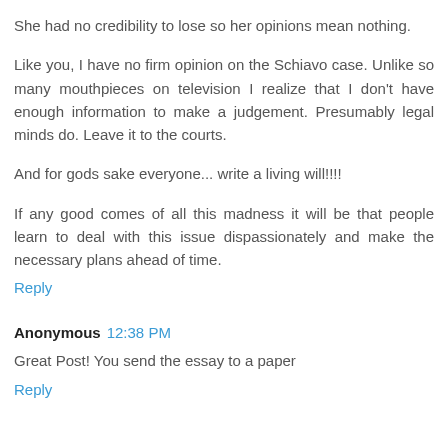She had no credibility to lose so her opinions mean nothing.
Like you, I have no firm opinion on the Schiavo case. Unlike so many mouthpieces on television I realize that I don't have enough information to make a judgement. Presumably legal minds do. Leave it to the courts.
And for gods sake everyone... write a living will!!!!
If any good comes of all this madness it will be that people learn to deal with this issue dispassionately and make the necessary plans ahead of time.
Reply
Anonymous 12:38 PM
Great Post! You send the essay to a paper
Reply